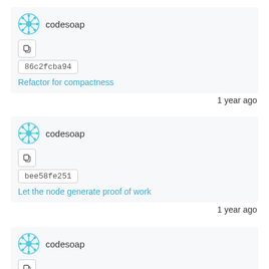[Figure (screenshot): Git commit history list showing three commits by user 'codesoap' with commit hashes, commit messages, and timestamps]
codesoap
86c2fcba94
Refactor for compactness
1 year ago
codesoap
bee58fe251
Let the node generate proof of work
1 year ago
codesoap
d465857815